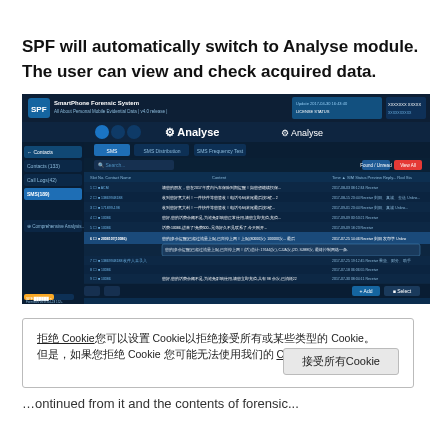SPF will automatically switch to Analyse module. The user can view and check acquired data.
[Figure (screenshot): SmartPhone Forensic System (SPF) application showing the Analyse module with SMS data list, including contact names, content, time, status columns. The interface has a dark blue theme with Chinese text entries visible in the data table.]
拒绝 Cookie您可以设置 Cookie以拒绝接受所有或某些类型的 Cookie。 但是，如果您拒绝 Cookie 您可能无法使用我们的 Cookie 功能
接受所有Cookie